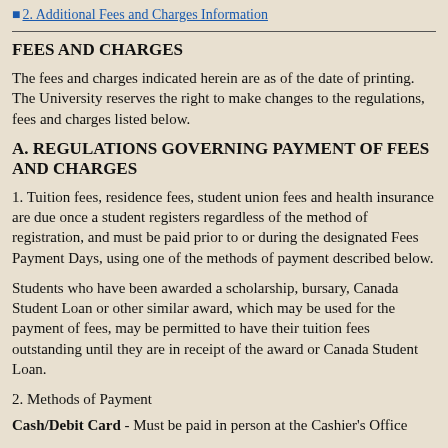2. Additional Fees and Charges Information
FEES AND CHARGES
The fees and charges indicated herein are as of the date of printing. The University reserves the right to make changes to the regulations, fees and charges listed below.
A. REGULATIONS GOVERNING PAYMENT OF FEES AND CHARGES
1. Tuition fees, residence fees, student union fees and health insurance are due once a student registers regardless of the method of registration, and must be paid prior to or during the designated Fees Payment Days, using one of the methods of payment described below.
Students who have been awarded a scholarship, bursary, Canada Student Loan or other similar award, which may be used for the payment of fees, may be permitted to have their tuition fees outstanding until they are in receipt of the award or Canada Student Loan.
2. Methods of Payment
Cash/Debit Card - Must be paid in person at the Cashier's Office